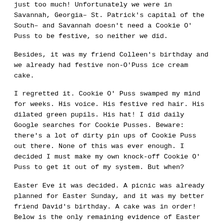just too much! Unfortunately we were in Savannah, Georgia– St. Patrick's capital of the South– and Savannah doesn't need a Cookie O' Puss to be festive, so neither we did.
Besides, it was my friend Colleen's birthday and we already had festive non-O'Puss ice cream cake.
I regretted it. Cookie O' Puss swamped my mind for weeks. His voice. His festive red hair. His dilated green pupils. His hat! I did daily Google searches for Cookie Pusses. Beware: there's a lot of dirty pin ups of Cookie Puss out there. None of this was ever enough. I decided I must make my own knock-off Cookie O' Puss to get it out of my system. But when?
Easter Eve it was decided. A picnic was already planned for Easter Sunday, and it was my better friend David's birthday. A cake was in order! Below is the only remaining evidence of Easter O' Puss's short life: